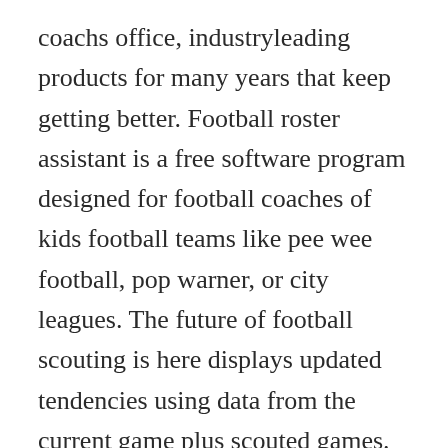coachs office, industryleading products for many years that keep getting better. Football roster assistant is a free software program designed for football coaches of kids football teams like pee wee football, pop warner, or city leagues. The future of football scouting is here displays updated tendencies using data from the current game plus scouted games. Please enter your name and email address and we will send you a link for the download.
All football academies run weekly from monday through to friday, with daily bookings